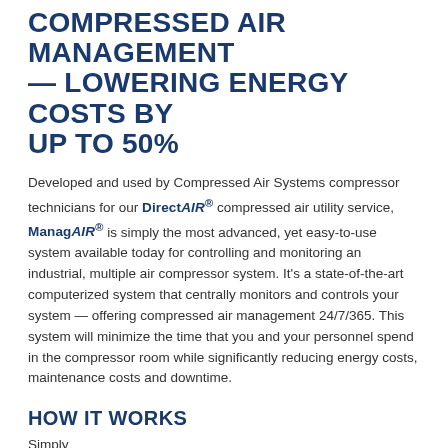COMPRESSED AIR MANAGEMENT — LOWERING ENERGY COSTS BY UP TO 50%
Developed and used by Compressed Air Systems compressor technicians for our DirectAIR® compressed air utility service, ManagAIR® is simply the most advanced, yet easy-to-use system available today for controlling and monitoring an industrial, multiple air compressor system. It's a state-of-the-art computerized system that centrally monitors and controls your system — offering compressed air management 24/7/365. This system will minimize the time that you and your personnel spend in the compressor room while significantly reducing energy costs, maintenance costs and downtime.
HOW IT WORKS
Simply...